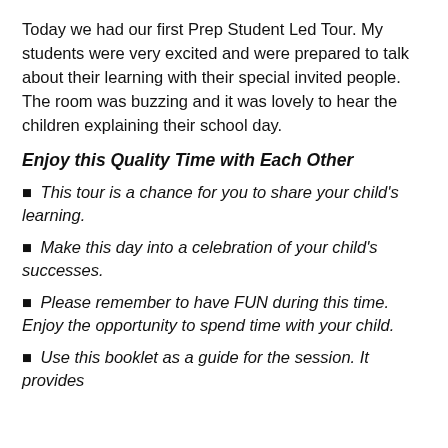Today we had our first Prep Student Led Tour. My students were very excited and were prepared to talk about their learning with their special invited people. The room was buzzing and it was lovely to hear the children explaining their school day.
Enjoy this Quality Time with Each Other
This tour is a chance for you to share your child's learning.
Make this day into a celebration of your child's successes.
Please remember to have FUN during this time. Enjoy the opportunity to spend time with your child.
Use this booklet as a guide for the session. It provides